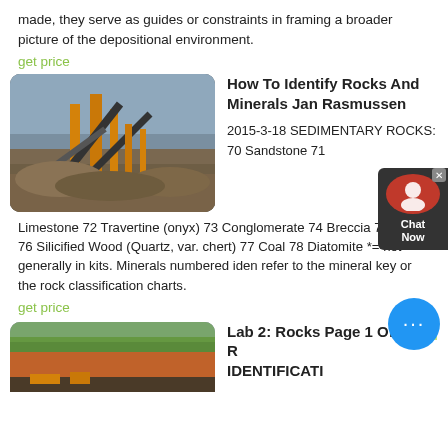made, they serve as guides or constraints in framing a broader picture of the depositional environment.
get price
[Figure (photo): Industrial rock crushing/mining equipment with conveyor belts and machinery against a cloudy sky, surrounded by piles of aggregate material.]
How To Identify Rocks And Minerals Jan Rasmussen
2015-3-18 SEDIMENTARY ROCKS: 70 Sandstone 71
Limestone 72 Travertine (onyx) 73 Conglomerate 74 Breccia 75 Shale 76 Silicified Wood (Quartz, var. chert) 77 Coal 78 Diatomite *= not generally in kits. Minerals numbered iden refer to the mineral key or the rock classification charts.
get price
[Figure (photo): A hillside or open pit mine with reddish-brown earth and green vegetation at the top, with mining equipment visible at the bottom.]
Lab 2: Rocks Page 1 Of 9 L2: R IDENTIFICATI